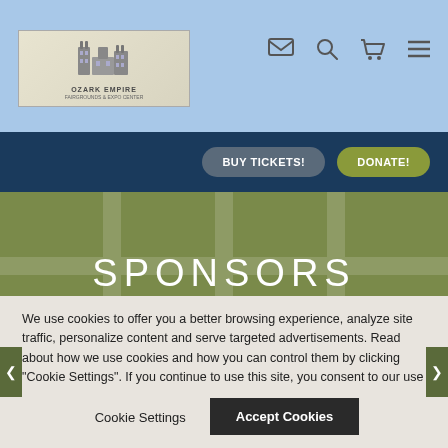[Figure (screenshot): Website screenshot of Ozark Empire Fairgrounds & Expo Center showing site header with logo, navigation icons, dark blue nav bar with 'BUY TICKETS!' and 'DONATE!' buttons, a green sponsors section with 'SPONSORS' heading and scrollable sponsor logos (Lee's, Corwin Automotive Group, Springfield Area Chamber of Commerce, Bobcat), and a cookie consent banner at the bottom.]
We use cookies to offer you a better browsing experience, analyze site traffic, personalize content and serve targeted advertisements. Read about how we use cookies and how you can control them by clicking "Cookie Settings". If you continue to use this site, you consent to our use of cookies.
Cookie Settings
Accept Cookies